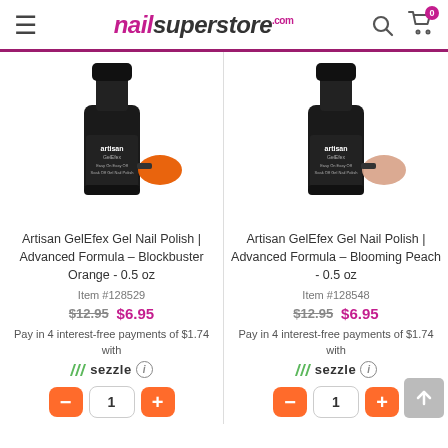nailsuperstore.com
[Figure (photo): Artisan GelEfex Gel Nail Polish bottle - Blockbuster Orange color, black bottle with orange swatch]
Artisan GelEfex Gel Nail Polish | Advanced Formula – Blockbuster Orange - 0.5 oz
Item #128529
$12.95  $6.95
Pay in 4 interest-free payments of $1.74 with Sezzle
[Figure (photo): Artisan GelEfex Gel Nail Polish bottle - Blooming Peach color, black bottle with peach/pink swatch]
Artisan GelEfex Gel Nail Polish | Advanced Formula – Blooming Peach - 0.5 oz
Item #128548
$12.95  $6.95
Pay in 4 interest-free payments of $1.74 with Sezzle